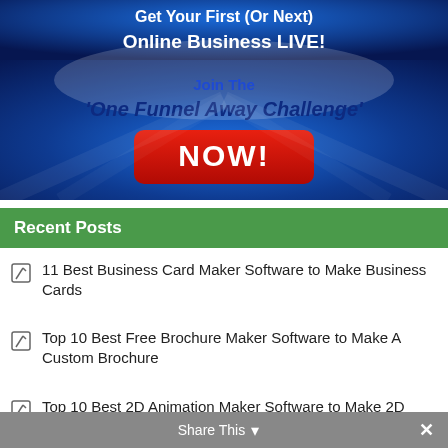[Figure (illustration): Promotional banner ad with blue radial background. Top section says 'Get Your First (Or Next) Online Business LIVE!' in bold white text. Middle section says 'Join The' and ''One Funnel Away Challenge'' in dark blue bold italic text. Below that is a red rounded button with 'NOW!' in large white bold text.]
Recent Posts
11 Best Business Card Maker Software to Make Business Cards
Top 10 Best Free Brochure Maker Software to Make A Custom Brochure
Top 10 Best 2D Animation Maker Software to Make 2D Animation
Share This ×